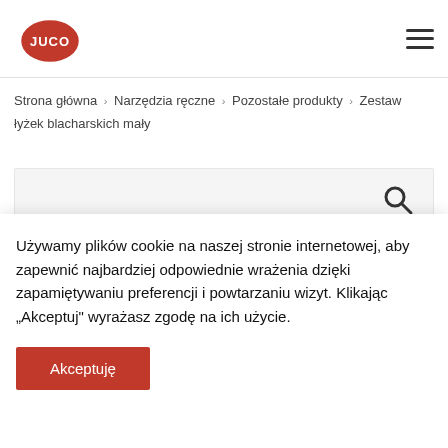JUCO [logo] | hamburger menu
Strona główna > Narzędzia ręczne > Pozostałe produkty > Zestaw łyżek blacharskich mały
[Figure (photo): Product image area with magnifying glass icon and partial view of teal colored sheet metal spoon tool]
Używamy plików cookie na naszej stronie internetowej, aby zapewnić najbardziej odpowiednie wrażenia dzięki zapamiętywaniu preferencji i powtarzaniu wizyt. Klikając „Akceptuj" wyrażasz zgodę na ich użycie.
Akceptuję